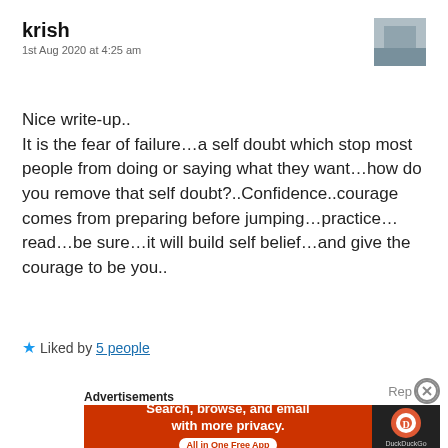krish
1st Aug 2020 at 4:25 am
Nice write-up..
It is the fear of failure…a self doubt which stop most people from doing or saying what they want…how do you remove that self doubt?..Confidence..courage comes from preparing before jumping…practice…read…be sure…it will build self belief…and give the courage to be you..
★ Liked by 5 people
Rep
Advertisements
[Figure (screenshot): DuckDuckGo advertisement banner: orange left section with text 'Search, browse, and email with more privacy. All in One Free App' and dark right section with DuckDuckGo logo and name.]